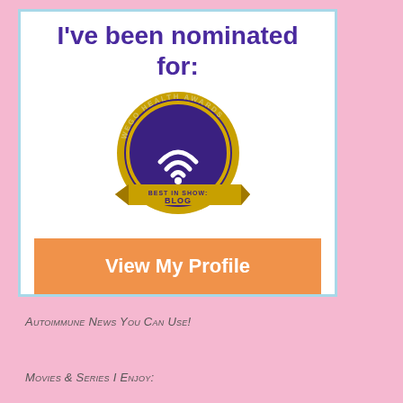I've been nominated for:
[Figure (logo): WEGO Health Awards badge - Best in Show: Blog, circular gold and purple badge with WiFi signal icon]
View My Profile
Autoimmune News You Can Use!
Movies & Series I Enjoy: